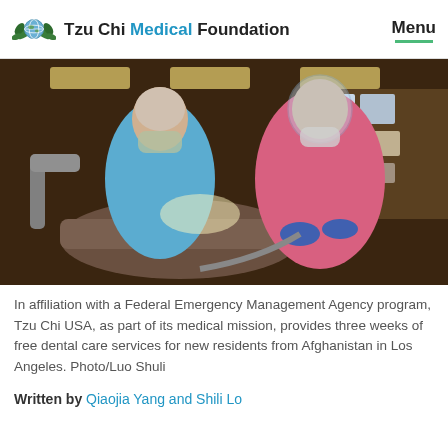Tzu Chi Medical Foundation   Menu
[Figure (photo): A dentist in blue scrubs and mask performing dental work on a patient, while an assistant in pink protective gown and face shield holds equipment. The setting appears to be a dental clinic.]
In affiliation with a Federal Emergency Management Agency program, Tzu Chi USA, as part of its medical mission, provides three weeks of free dental care services for new residents from Afghanistan in Los Angeles. Photo/Luo Shuli
Written by Qiaojia Yang and Shili Lo